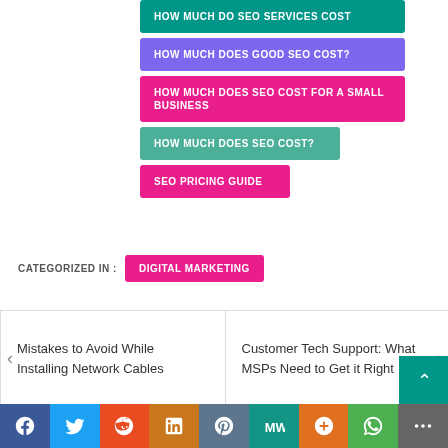HOW MUCH DO SEO SERVICES COST
HOW MUCH DOES GOOD SEO COST?
HOW MUCH DOES SEO COST FOR A SMALL BUSINESS
HOW MUCH DOES SEO COST?
SEO PRICING GUIDE
CATEGORIZED IN :
DIGITAL MARKETING
Mistakes to Avoid While Installing Network Cables
Customer Tech Support: What MSPs Need to Get it Right